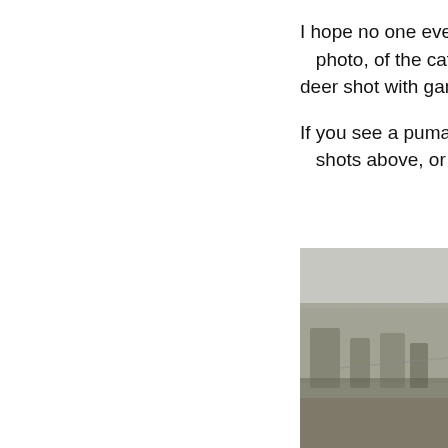I hope no one ever s photo, of the cat, o deer shot with game
If you see a puma (m shots above, or thi
[Figure (photo): Outdoor foggy/misty scene showing a dirt path or trail through a wooded or grassy area, muted grey-brown tones]